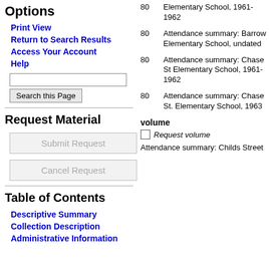Options
Print View
Return to Search Results
Access Your Account
Help
Request Material
Submit Request
Cancel Request
Table of Contents
Descriptive Summary
Collection Description
Administrative Information
80  Elementary School, 1961-1962
80  Attendance summary: Barrow Elementary School, undated
80  Attendance summary: Chase St Elementary School, 1961-1962
80  Attendance summary: Chase St. Elementary School, 1963
volume
Request volume
Attendance summary: Childs Street